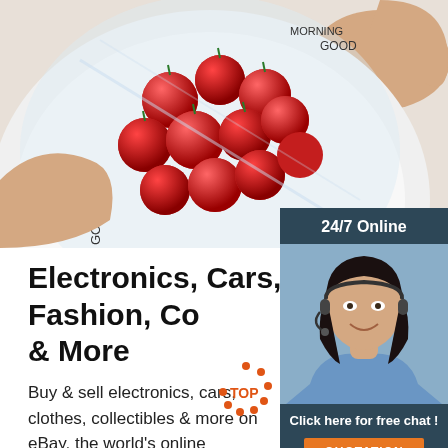[Figure (photo): Hands holding a white plate with cherry tomatoes covered by plastic wrap, text 'GOOD MORNING' on plate]
[Figure (photo): Customer service agent (woman with headset) with 24/7 Online panel, 'Click here for free chat!' text and orange QUOTATION button]
Electronics, Cars, Fashion, Collectibles & More
Buy & sell electronics, cars, clothes, collectibles & more on eBay, the world's online marketplace. Top brands, low prices & free shipping on many items.